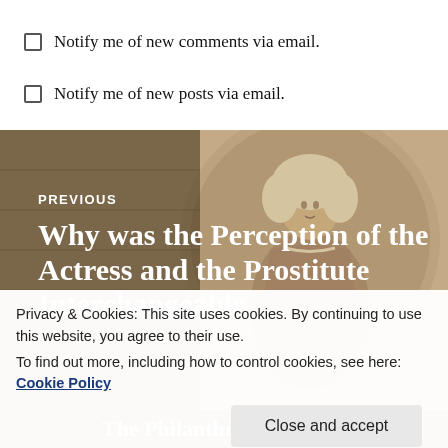Notify me of new comments via email.
Notify me of new posts via email.
[Figure (photo): Historical portrait illustration of a woman in 18th-century dress with powdered wig, oval framed medallion style, sepia/tan tones]
PREVIOUS
Why was the Perception of the Actress and the Prostitute Interchangeable
Privacy & Cookies: This site uses cookies. By continuing to use this website, you agree to their use.
To find out more, including how to control cookies, see here: Cookie Policy
Close and accept
The Philanthropic Society